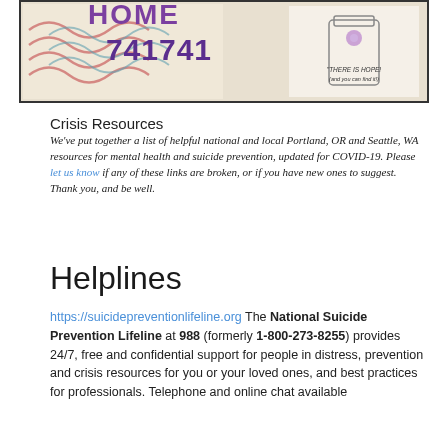[Figure (photo): Photo of a framed sign showing '741741' in large purple numbers with decorative elements and text reading 'THERE IS HOPE! (and you can find it!)']
Crisis Resources
We've put together a list of helpful national and local Portland, OR and Seattle, WA resources for mental health and suicide prevention, updated for COVID-19. Please let us know if any of these links are broken, or if you have new ones to suggest. Thank you, and be well.
Helplines
https://suicidepreventionlifeline.org The National Suicide Prevention Lifeline at 988 (formerly 1-800-273-8255) provides 24/7, free and confidential support for people in distress, prevention and crisis resources for you or your loved ones, and best practices for professionals. Telephone and online chat available